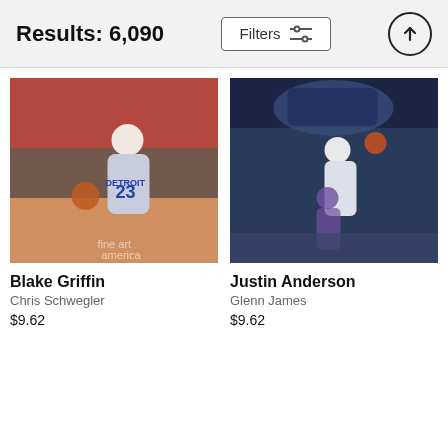Results: 6,090
Filters
[Figure (photo): Blake Griffin #23 in Detroit Pistons uniform dribbling basketball on court with crowd in background]
[Figure (photo): Justin Anderson dunking basketball in Dallas Mavericks arena with player in purple uniform below and crowd in background]
Blake Griffin
Chris Schwegler
$9.62
Justin Anderson
Glenn James
$9.62